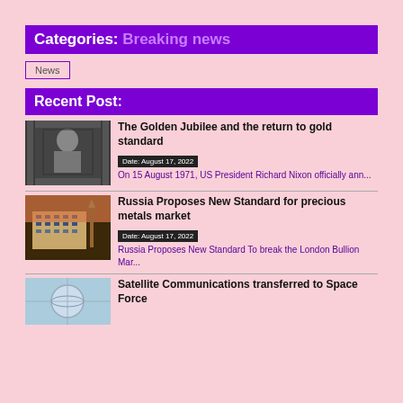Categories: Breaking news
News
Recent Post:
[Figure (photo): Black and white photo of Richard Nixon speaking at a podium]
The Golden Jubilee and the return to gold standard
Date: August 17, 2022
On 15 August 1971, US President Richard Nixon officially ann...
[Figure (photo): Photo of a large government building (Russian White House) at dusk]
Russia Proposes New Standard for precious metals market
Date: August 17, 2022
Russia Proposes New Standard To break the London Bullion Mar...
[Figure (photo): Partially visible photo related to satellite communications]
Satellite Communications transferred to Space Force